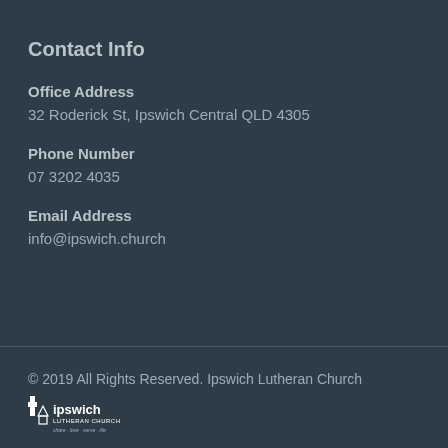Contact Info
Office Address
32 Roderick St, Ipswich Central QLD 4305
Phone Number
07 3202 4035
Email Address
info@ipswich.church
© 2019 All Rights Reserved. Ipswich Lutheran Church
[Figure (logo): Ipswich Lutheran Church logo — white cross and text reading 'ipswich LUTHERAN CHURCH' with tagline]